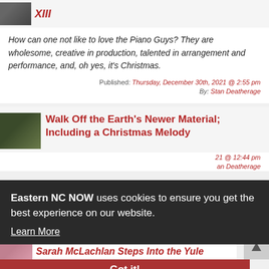XIII
How can one not like to love the Piano Guys? They are wholesome, creative in production, talented in arrangement and performance, and, oh yes, it's Christmas.
Published: Thursday, December 30th, 2021 @ 2:55 pm
By: Stan Deatherage
Walk Off the Earth's Newer Material; Including a Christmas Melody
21 @ 12:44 pm
an Deatherage
Eastern NC NOW uses cookies to ensure you get the best experience on our website. Learn More
Got it!
Sarah McLachlan Steps Into the Yule